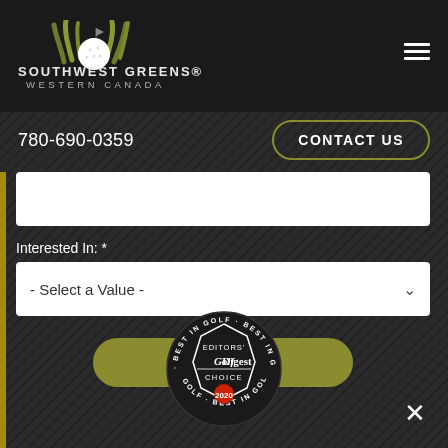[Figure (logo): Southwest Greens Western Canada logo with grass blades and golf ball graphic in olive/green and white on dark background]
780-690-0359
CONTACT US
Interested In: *
- Select a Value -
Submit
[Figure (logo): Golf Digest Editors' Choice Best In Golf 2020 circular badge/seal in black and white with red 2020 accent]